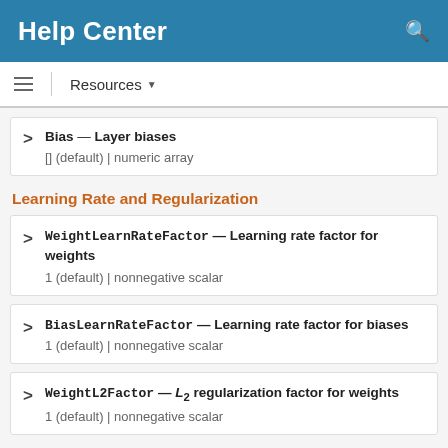Help Center
Resources ▼
Bias — Layer biases
[] (default) | numeric array
Learning Rate and Regularization
WeightLearnRateFactor — Learning rate factor for weights
1 (default) | nonnegative scalar
BiasLearnRateFactor — Learning rate factor for biases
1 (default) | nonnegative scalar
WeightL2Factor — L2 regularization factor for weights
1 (default) | nonnegative scalar